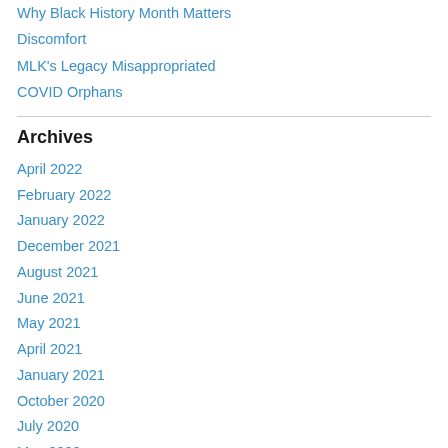Why Black History Month Matters
Discomfort
MLK's Legacy Misappropriated
COVID Orphans
Archives
April 2022
February 2022
January 2022
December 2021
August 2021
June 2021
May 2021
April 2021
January 2021
October 2020
July 2020
May 2020